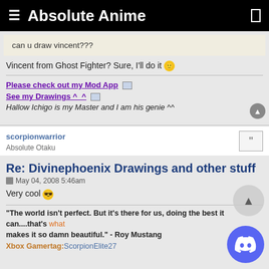Absolute Anime
can u draw vincent???
Vincent from Ghost Fighter? Sure, I'll do it 😊
Please check out my Mod App
See my Drawings ^_^
Hallow Ichigo is my Master and I am his genie ^^
scorpionwarrior
Absolute Otaku
Re: Divinephoenix Drawings and other stuff
May 04, 2008 5:46am
Very cool 😎
"The world isn't perfect. But it's there for us, doing the best it can....that's what makes it so damn beautiful." - Roy Mustang
Xbox Gamertag: ScorpionElite27